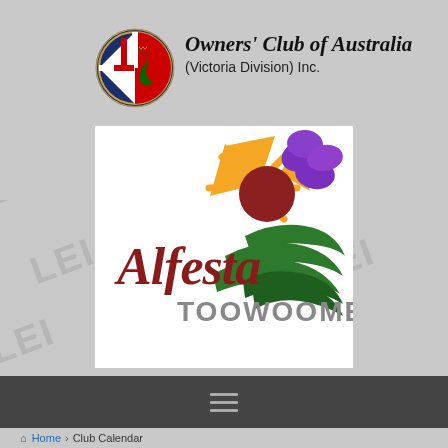[Figure (logo): Alfa Romeo Owners Club of Australia (Victoria Division) Inc. logo with circular Alfa Romeo badge and italic script club name text]
[Figure (logo): Alfesta Toowoomba event logo on white background featuring orange sun, purple flowers, green swirls, and red/maroon cursive 'Alfesta' text with 'TOOWOOMBA' in gray block letters]
[Figure (infographic): Hamburger menu icon (three horizontal lines) in navigation bar]
Home › Club Calendar